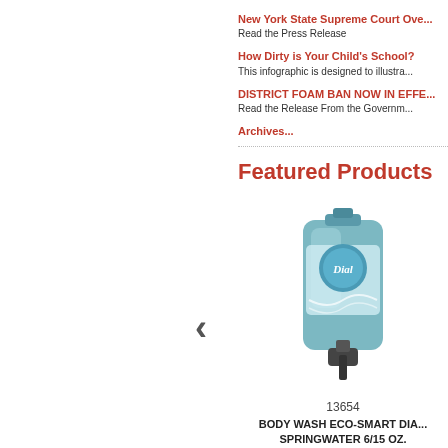New York State Supreme Court Ove...
Read the Press Release
How Dirty is Your Child's School?
This infographic is designed to illustra...
DISTRICT FOAM BAN NOW IN EFFE...
Read the Release From the Governm...
Archives...
Featured Products
[Figure (photo): Dial Eco-Smart body wash dispenser bottle in light blue color]
13654
BODY WASH ECO-SMART DIA... SPRINGWATER 6/15 OZ.